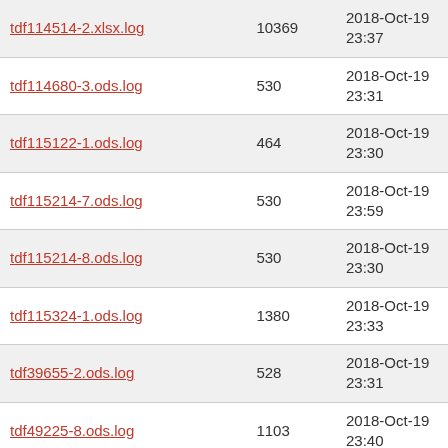| tdf114514-2.xlsx.log | 10369 | 2018-Oct-19 23:37 |
| tdf114680-3.ods.log | 530 | 2018-Oct-19 23:31 |
| tdf115122-1.ods.log | 464 | 2018-Oct-19 23:30 |
| tdf115214-7.ods.log | 530 | 2018-Oct-19 23:59 |
| tdf115214-8.ods.log | 530 | 2018-Oct-19 23:30 |
| tdf115324-1.ods.log | 1380 | 2018-Oct-19 23:33 |
| tdf39655-2.ods.log | 528 | 2018-Oct-19 23:31 |
| tdf49225-8.ods.log | 1103 | 2018-Oct-19 23:40 |
| tdf59061-1.ods.log | 528 | 2018-Oct-19 23:29 |
| tdf62625-2.ods.log | 1267 | 2018-Oct-19 23:35 |
| tdf64857-2.ods.log | 713 | 2018-Oct-19 23:32 |